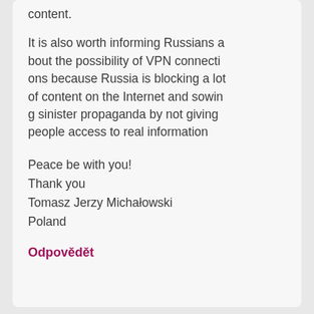content.
It is also worth informing Russians about the possibility of VPN connections because Russia is blocking a lot of content on the Internet and sowing sinister propaganda by not giving people access to real information
Peace be with you!
Thank you
Tomasz Jerzy Michałowski
Poland
Odpovědět